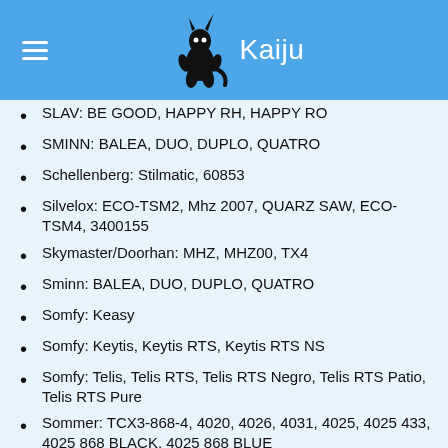Kaiju
SLAV: BE GOOD, HAPPY RH, HAPPY RO (partial/truncated)
SMINN: BALEA, DUO, DUPLO, QUATRO
Schellenberg: Stilmatic, 60853
Silvelox: ECO-TSM2, Mhz 2007, QUARZ SAW, ECO-TSM4, 3400155
Skymaster/Doorhan: MHZ, MHZ00, TX4
Sminn: BALEA, DUO, DUPLO, QUATRO
Somfy: Keasy
Somfy: Keytis, Keytis RTS, Keytis RTS NS
Somfy: Telis, Telis RTS, Telis RTS Negro, Telis RTS Patio, Telis RTS Pure
Sommer: TCX3-868-4, 4020, 4026, 4031, 4025, 4025 433, 4025 868 BLACK, 4025 868 BLUE
Space: SP
Stagnoli: KALLISTO, VENUS
Telcoma: FM, FM402
V2: V2, HANDY, Match, PHOENIX, PHOENIX NEGRO, PHOX, TRC, TSC, TXC, ACM PIX2
Wisniowski: 4A433, COVER, 4GO, 2H433, U- (truncated)